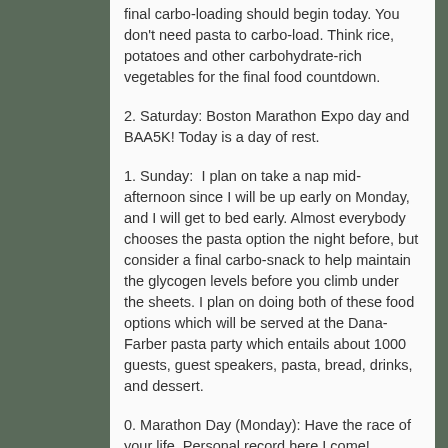final carbo-loading should begin today. You don't need pasta to carbo-load. Think rice, potatoes and other carbohydrate-rich vegetables for the final food countdown.
2. Saturday: Boston Marathon Expo day and BAA5K! Today is a day of rest.
1. Sunday: I plan on take a nap mid-afternoon since I will be up early on Monday, and I will get to bed early. Almost everybody chooses the pasta option the night before, but consider a final carbo-snack to help maintain the glycogen levels before you climb under the sheets. I plan on doing both of these food options which will be served at the Dana-Farber pasta party which entails about 1000 guests, guest speakers, pasta, bread, drinks, and dessert.
0. Marathon Day (Monday): Have the race of your life. Personal record here I come!
– 1. Tuesday: Yes, it is okay to wear your marathon medal to work today, or the next day if you took an extra day off to return home. Particularly if your co-workers or friends